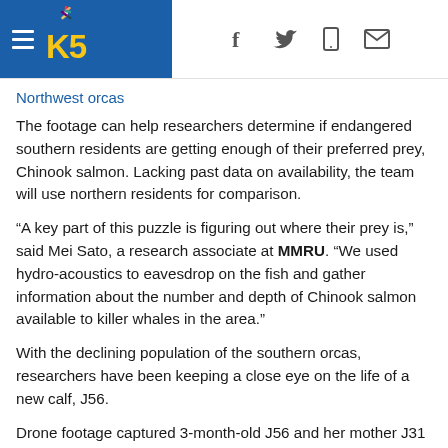King5 News header with logo and social icons
Northwest orcas
The footage can help researchers determine if endangered southern residents are getting enough of their preferred prey, Chinook salmon. Lacking past data on availability, the team will use northern residents for comparison.
“A key part of this puzzle is figuring out where their prey is,” said Mei Sato, a research associate at MMRU. “We used hydro-acoustics to eavesdrop on the fish and gather information about the number and depth of Chinook salmon available to killer whales in the area.”
With the declining population of the southern orcas, researchers have been keeping a close eye on the life of a new calf, J56.
Drone footage captured 3-month-old J56 and her mother J31 near the Fraser River in British Columbia in August.